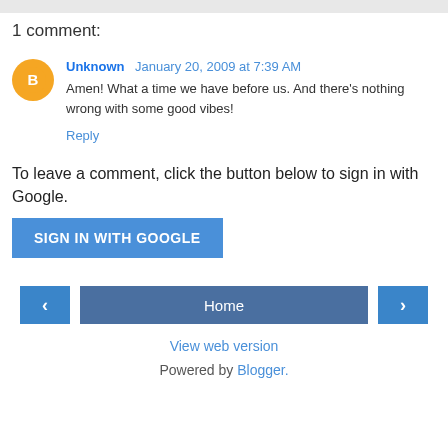1 comment:
Unknown January 20, 2009 at 7:39 AM
Amen! What a time we have before us. And there's nothing wrong with some good vibes!
Reply
To leave a comment, click the button below to sign in with Google.
SIGN IN WITH GOOGLE
Home
View web version
Powered by Blogger.